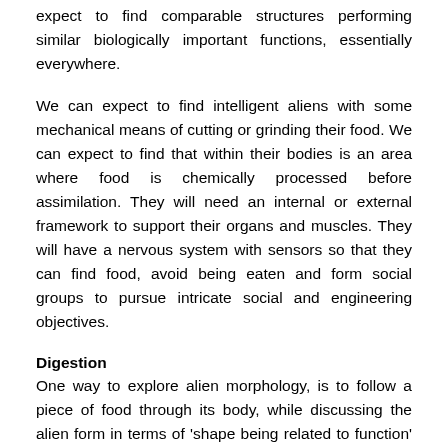expect to find comparable structures performing similar biologically important functions, essentially everywhere.
We can expect to find intelligent aliens with some mechanical means of cutting or grinding their food. We can expect to find that within their bodies is an area where food is chemically processed before assimilation. They will need an internal or external framework to support their organs and muscles. They will have a nervous system with sensors so that they can find food, avoid being eaten and form social groups to pursue intricate social and engineering objectives.
Digestion
One way to explore alien morphology, is to follow a piece of food through its body, while discussing the alien form in terms of 'shape being related to function' and biological adaptation...